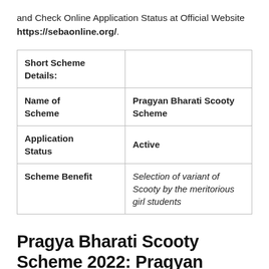and Check Online Application Status at Official Website https://sebaonline.org/.
| Short Scheme Details: |  |
| Name of Scheme | Pragyan Bharati Scooty Scheme |
| Application Status | Active |
| Scheme Benefit | Selection of variant of Scooty by the meritorious girl students |
Pragya Bharati Scooty Scheme 2022: Pragyan Bharati Scooty Scheme List, Status News